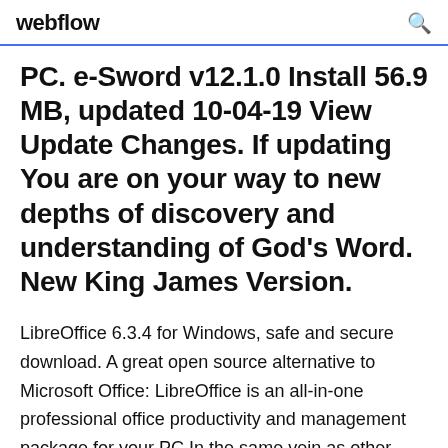webflow
PC. e-Sword v12.1.0 Install 56.9 MB, updated 10-04-19 View Update Changes. If updating You are on your way to new depths of discovery and understanding of God's Word. New King James Version.
LibreOffice 6.3.4 for Windows, safe and secure download. A great open source alternative to Microsoft Office: LibreOffice is an all-in-one professional office productivity and management package for your PC.In the same vein as other open... PowerPoint became a